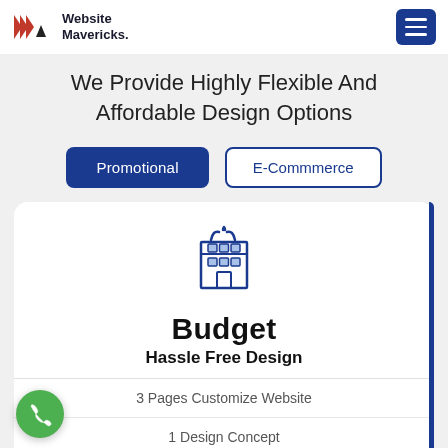Website Mavericks.
We Provide Highly Flexible And Affordable Design Options
Promotional | E-Commmerce
[Figure (illustration): Line-art building/store icon with antenna arcs on top]
Budget
Hassle Free Design
3 Pages Customize Website
1 Design Concept
1 Dedicated Design Team
Complete Deployment